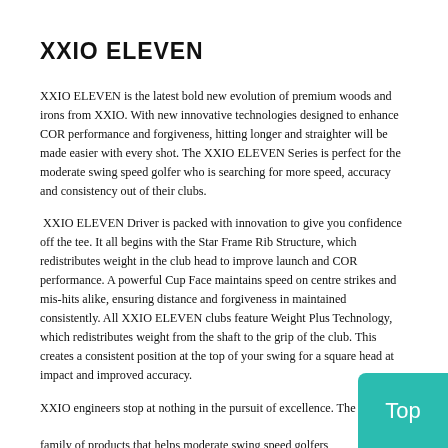XXIO ELEVEN
XXIO ELEVEN is the latest bold new evolution of premium woods and irons from XXIO. With new innovative technologies designed to enhance COR performance and forgiveness, hitting longer and straighter will be made easier with every shot. The XXIO ELEVEN Series is perfect for the moderate swing speed golfer who is searching for more speed, accuracy and consistency out of their clubs.
XXIO ELEVEN Driver is packed with innovation to give you confidence off the tee. It all begins with the Star Frame Rib Structure, which redistributes weight in the club head to improve launch and COR performance. A powerful Cup Face maintains speed on centre strikes and mis-hits alike, ensuring distance and forgiveness in maintained consistently. All XXIO ELEVEN clubs feature Weight Plus Technology, which redistributes weight from the shaft to the grip of the club. This creates a consistent position at the top of your swing for a square head at impact and improved accuracy.
XXIO engineers stop at nothing in the pursuit of excellence. The family of products that helps moderate swing speed golfers increase enjoyment of the game with lower scores and better performance. XXIO has been the #1 golf club brand in Japan for 17 straight years. It's also